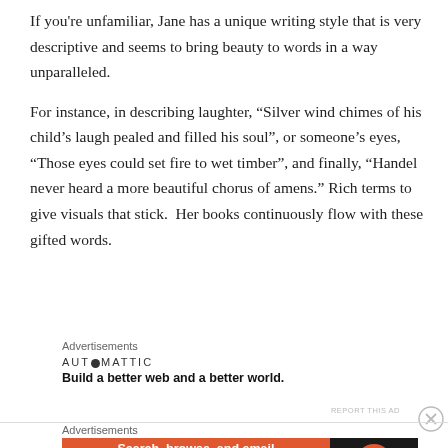If you're unfamiliar, Jane has a unique writing style that is very descriptive and seems to bring beauty to words in a way unparalleled.
For instance, in describing laughter, “Silver wind chimes of his child’s laugh pealed and filled his soul”, or someone’s eyes, “Those eyes could set fire to wet timber”, and finally, “Handel never heard a more beautiful chorus of amens.” Rich terms to give visuals that stick.  Her books continuously flow with these gifted words.
Advertisements
[Figure (other): Automattic advertisement: logo text 'AUTOMATTIC' with tagline 'Build a better web and a better world.']
Advertisements
[Figure (other): DuckDuckGo advertisement banner: orange left panel with text 'Search, browse, and email with more privacy.' and 'All in One Free App' button; dark right panel with DuckDuckGo logo and name.]